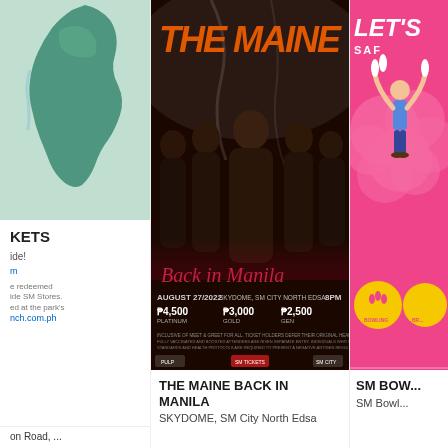[Figure (map): Map thumbnail showing a geographic region with teal/green coloring, dotted markers]
KETS
ide!
m
e redeemed
ide SM Stores.
ed at the park's
nch.com.ph
on Road, ...
[Figure (photo): Concert poster for The Maine 'Back in Manila' at Skydome, SM City North Edsa on August 27, 2022 at 8PM. Ticket prices: P4,500 Platinum, P3,000 Gold, P2,500 General. Features band photo of 5 members in dark clothing.]
THE MAINE BACK IN MANILA
SKYDOME, SM City North Edsa
[Figure (illustration): SM Bowling promotional banner with pink background, 'LET'S SAF...' text, bowling illustration with person holding pins, yellow circles with bowling icon and 'BOWLING' text, and 'BR...' text]
SM BOW...
SM Bowl...